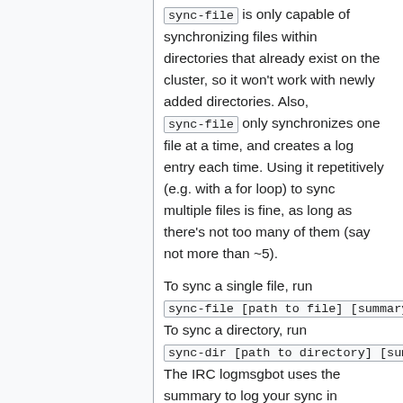sync-file is only capable of synchronizing files within directories that already exist on the cluster, so it won't work with newly added directories. Also, sync-file only synchronizes one file at a time, and creates a log entry each time. Using it repetitively (e.g. with a for loop) to sync multiple files is fine, as long as there's not too many of them (say not more than ~5).
To sync a single file, run sync-file [path to file] [summary]. To sync a directory, run sync-dir [path to directory] [summary]. The IRC logmsgbot uses the summary to log your sync in #wikimedia-operations, from where it'll go to the server admin log and the identi.ca and Twitter feeds.
PITFALL: The path argument has to